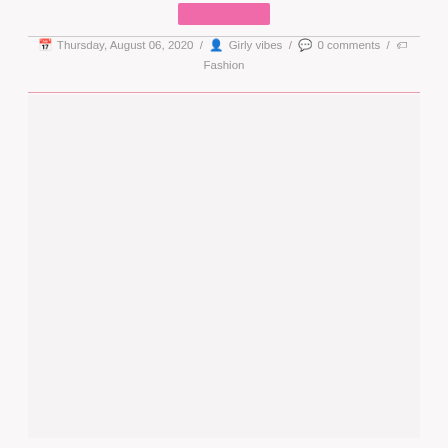[Figure (other): Pink button/banner at the top of the page]
Thursday, August 06, 2020 / Girly vibes / 0 comments / Fashion